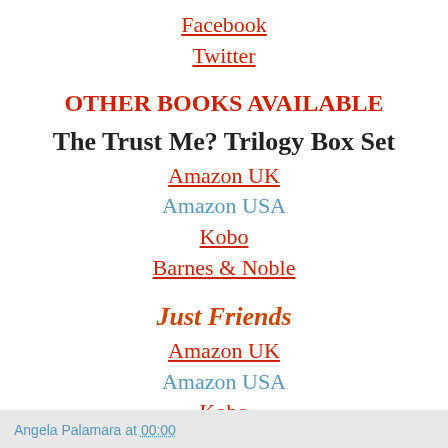Facebook
Twitter
OTHER BOOKS AVAILABLE
The Trust Me? Trilogy Box Set
Amazon UK
Amazon USA
Kobo
Barnes & Noble
Just Friends
Amazon UK
Amazon USA
Kobo
Barnes & Nobles
Angela Palamara at 00:00